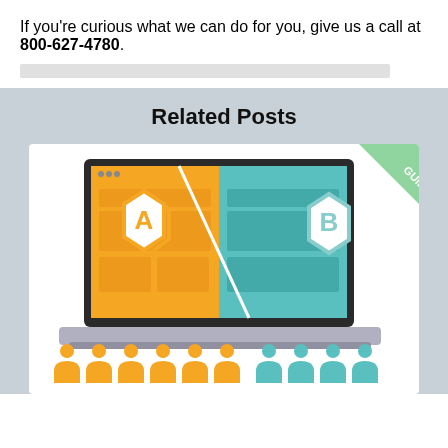If you're curious what we can do for you, give us a call at 800-627-4780.
[Figure (illustration): A/B testing illustration showing a laptop split into two halves: left side orange/yellow with hexagon 'A', right side teal/blue with hexagon 'B', and a green 'GUIDE' ribbon in the top-right corner. Below the laptop are person icons: 6 orange on the left and 4 teal on the right.]
Related Posts